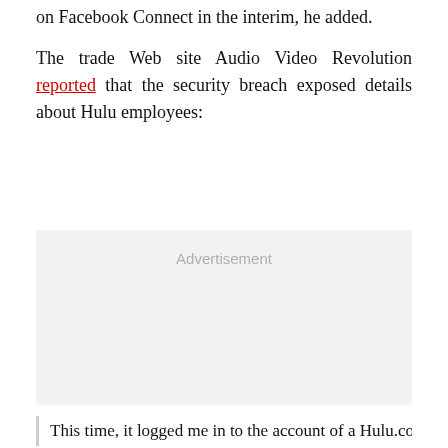on Facebook Connect in the interim, he added.
The trade Web site Audio Video Revolution reported that the security breach exposed details about Hulu employees:
[Figure (other): Advertisement placeholder box with light gray background and 'Advertisement' label centered at the top]
This time, it logged me in to the account of a Hulu.com